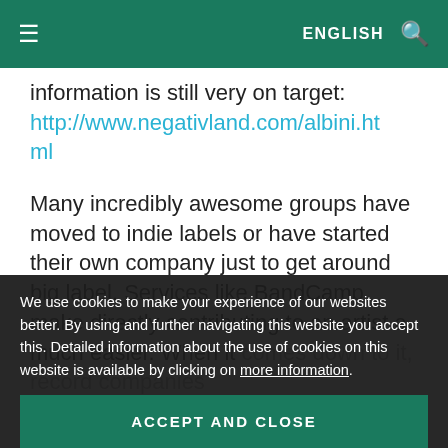≡   ENGLISH 🔍
information is still very on target: http://www.negativland.com/albini.html
Many incredibly awesome groups have moved to indie labels or have started their own company just to get around big label. Services like BandCamp make directly contributing to an artist a much easier. When it comes down to it, record companies ... legal system to force an evolving industry to stay in the mold that best ...
We use cookies to make your experience of our websites better. By using and further navigating this website you accept this. Detailed information about the use of cookies on this website is available by clicking on more information.
ACCEPT AND CLOSE